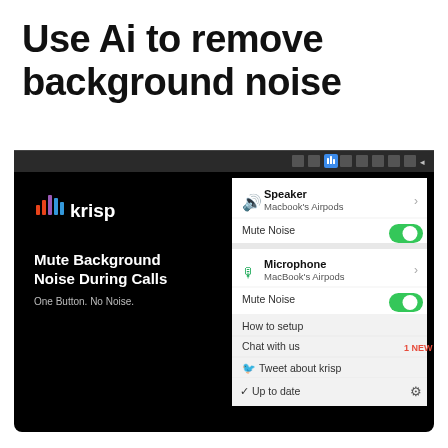Use Ai to remove background noise
[Figure (screenshot): Screenshot of Krisp app on macOS showing the Krisp interface with logo on a black background, text 'Mute Background Noise During Calls' and 'One Button. No Noise.', alongside a macOS dropdown menu panel showing Speaker (Macbook's Airpods) with Mute Noise toggle on, Microphone (MacBook's Airpods) with Mute Noise toggle on, How to setup, Chat with us (1 NEW badge), Tweet about krisp, and Up to date with gear icon.]